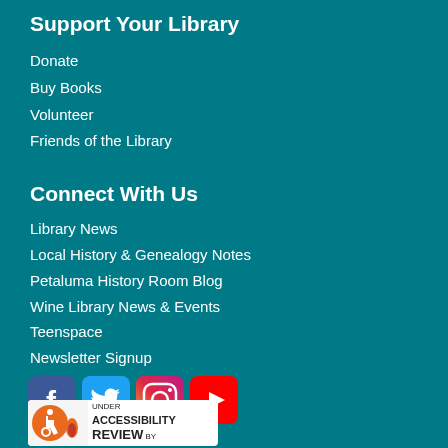Support Your Library
Donate
Buy Books
Volunteer
Friends of the Library
Connect With Us
Library News
Local History & Genealogy Notes
Petaluma History Room Blog
Wine Library News & Events
Teenspace
Newsletter Signup
[Figure (logo): Social media icons: Facebook, Twitter, Instagram, YouTube]
[Figure (logo): Accessibility review badge]